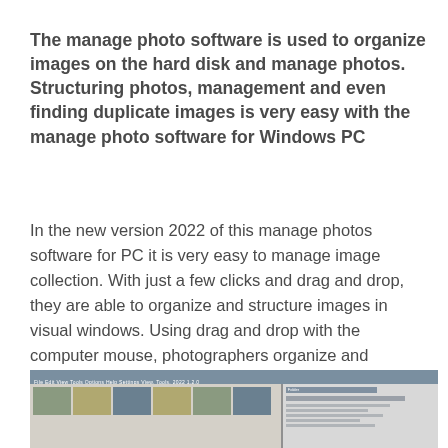The manage photo software is used to organize images on the hard disk and manage photos. Structuring photos, management and even finding duplicate images is very easy with the manage photo software for Windows PC
In the new version 2022 of this manage photos software for PC it is very easy to manage image collection. With just a few clicks and drag and drop, they are able to organize and structure images in visual windows. Using drag and drop with the computer mouse, photographers organize and structure images in visual windows and then also find and delete duplicate images. The easy manage photos software is a complete package with all the necessary and useful features to handle images on the computer.
[Figure (screenshot): Screenshot of photo management software showing a grid of photo thumbnails on the left panel and a file/folder panel on the right]